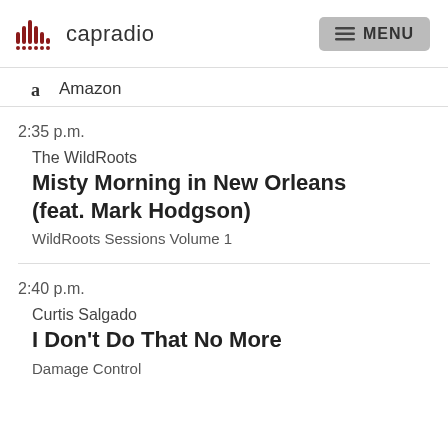capradio MENU
Amazon
2:35 p.m.
The WildRoots
Misty Morning in New Orleans (feat. Mark Hodgson)
WildRoots Sessions Volume 1
2:40 p.m.
Curtis Salgado
I Don't Do That No More
Damage Control